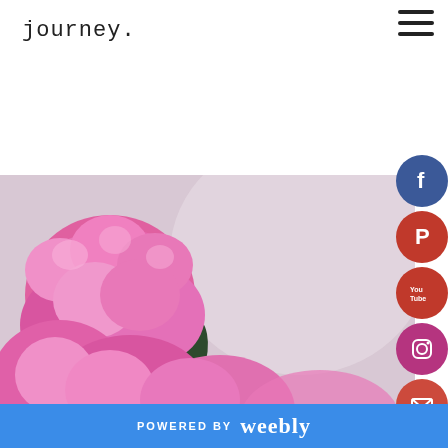journey.
[Figure (photo): Close-up photograph of pink peony flowers with soft light background]
[Figure (infographic): Social media icon buttons: Facebook (blue), Pinterest (red), YouTube (red), Instagram (pink/red), Email (red-orange) stacked vertically on right side]
POWERED BY weebly